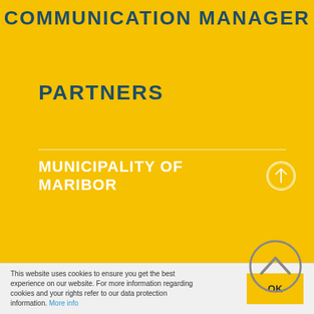COMMUNICATION MANAGER
PARTNERS
MUNICIPALITY OF MARIBOR
This website uses cookies to ensure you get the best experience on our website. For more information regarding cookies and your rights refer to our data protection information. More info